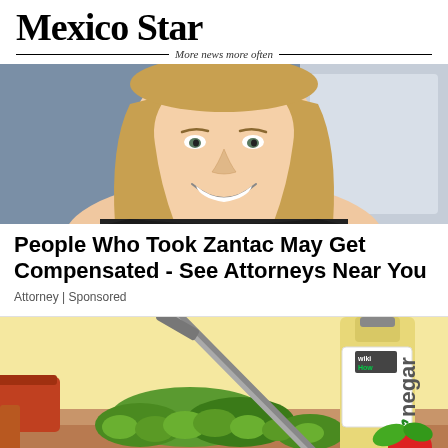Mexico Star — More news more often
[Figure (photo): Woman with blonde hair smiling, cropped to show face and shoulders]
People Who Took Zantac May Get Compensated - See Attorneys Near You
Attorney | Sponsored
[Figure (illustration): WikiHow-style illustration showing a vinegar bottle with wikiHow label, garden tools, plants, and vegetables on a yellow/peach background]